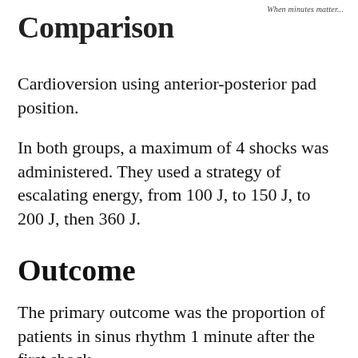When minutes matter...
Comparison
Cardioversion using anterior-posterior pad position.
In both groups, a maximum of 4 shocks was administered. They used a strategy of escalating energy, from 100 J, to 150 J, to 200 J, then 360 J.
Outcome
The primary outcome was the proportion of patients in sinus rhythm 1 minute after the first shock.